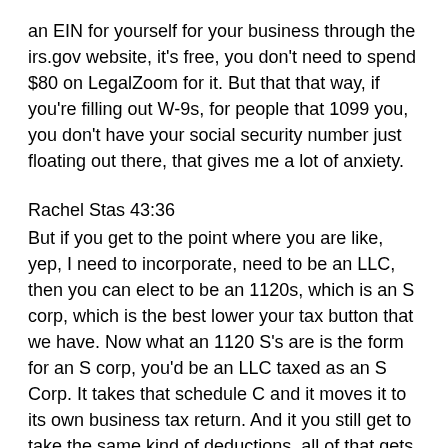an EIN for yourself for your business through the irs.gov website, it's free, you don't need to spend $80 on LegalZoom for it. But that that way, if you're filling out W-9s, for people that 1099 you, you don't have your social security number just floating out there, that gives me a lot of anxiety.
Rachel Stas 43:36
But if you get to the point where you are like, yep, I need to incorporate, need to be an LLC, then you can elect to be an 1120s, which is an S corp, which is the best lower your tax button that we have. Now what an 1120 S's are is the form for an S corp, you'd be an LLC taxed as an S Corp. It takes that schedule C and it moves it to its own business tax return. And it you still get to take the same kind of deductions, all of that gets over there, which is great. And adds actually another layer of liability protection, it just get it's that much harder to get to you personally, which is great also. But the big difference is that net